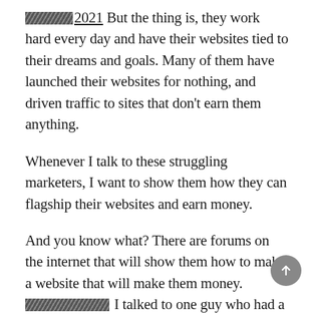[REDACTED]2021 But the thing is, they work hard every day and have their websites tied to their dreams and goals. Many of them have launched their websites for nothing, and driven traffic to sites that don't earn them anything.
Whenever I talk to these struggling marketers, I want to show them how they can flagship their websites and earn money.
And you know what? There are forums on the internet that will show them how to make a website that will make them money. [REDACTED] I talked to one guy who had a website that wasn't converting at all and he was spending around $50-$200 a month on it.